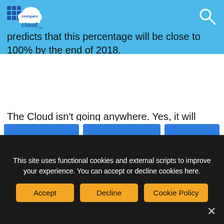CompareCloud.net
predicts that this percentage will be close to 100% by the end of 2018.
The Cloud isn’t going anywhere. Yes, it will change and evolve. It will be a constantly moving shark: it will fully absorb areas that we currently consider separate, and it may well shed things that have been part of the landscape for a long time. One thing that is for certain, however, is that in a year’s time, if you ask a hundred different people what is meant by, “The Cloud” you will still more than likely to get a hundred different answers.
This site uses functional cookies and external scripts to improve your experience. You can accept or decline cookies here.